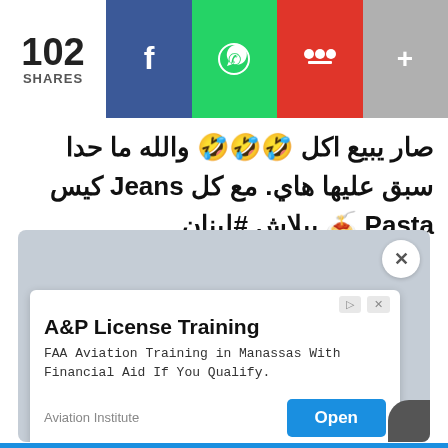102 SHARES | Facebook | WhatsApp | Share | More
صار يبيع اكل 🤣🤣🤣 والله ما حدا سبق عليها هاي. مع كل Jeans كيس Pasta 🍝 ببلاش #لبنان
[Figure (screenshot): Social media post screenshot with embedded advertisement for A&P License Training]
A&P License Training
FAA Aviation Training in Manassas With Financial Aid If You Qualify.
Aviation Institute
Open